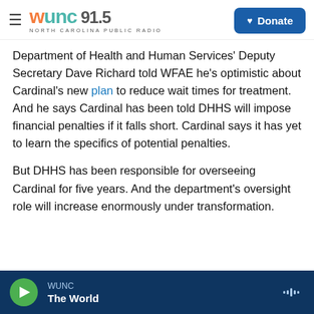WUNC 91.5 NORTH CAROLINA PUBLIC RADIO | Donate
Department of Health and Human Services' Deputy Secretary Dave Richard told WFAE he's optimistic about Cardinal's new plan to reduce wait times for treatment. And he says Cardinal has been told DHHS will impose financial penalties if it falls short. Cardinal says it has yet to learn the specifics of potential penalties.
But DHHS has been responsible for overseeing Cardinal for five years. And the department's oversight role will increase enormously under transformation.
WUNC | The World